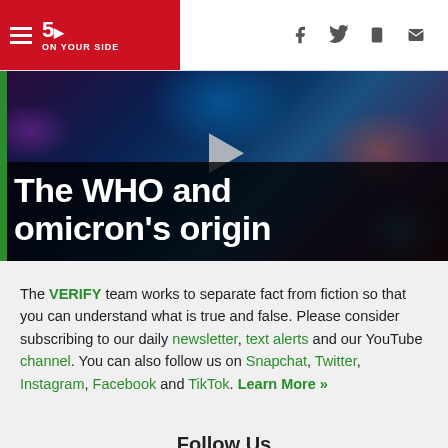5 ON YOUR SIDE
[Figure (screenshot): Video thumbnail showing microscopic cells with overlay title 'The WHO and omicron's origin' with play button]
The WHO and omicron's origin
The VERIFY team works to separate fact from fiction so that you can understand what is true and false. Please consider subscribing to our daily newsletter, text alerts and our YouTube channel. You can also follow us on Snapchat, Twitter, Instagram, Facebook and TikTok. Learn More »
Follow Us
[Figure (infographic): Social media icons row: YouTube, Snapchat, Twitter, Instagram, Facebook, TikTok in green]